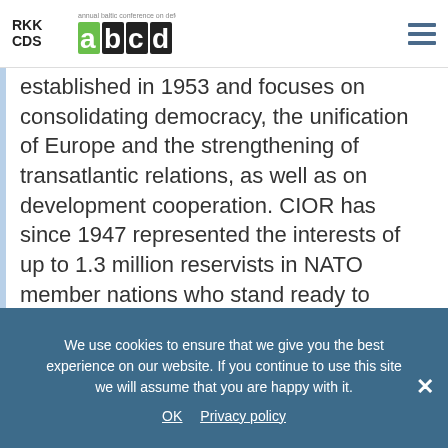RKK CDS annual baltic conference on defence ABCD [logo]
established in 1953 and focuses on consolidating democracy, the unification of Europe and the strengthening of transatlantic relations, as well as on development cooperation. CIOR has since 1947 represented the interests of up to 1.3 million reservists in NATO member nations who stand ready to reinforce the Alliance in times of emergency, not only military emergencies but also humanitarian.
The main sponsor of the ABCD 2020 is EuroSpike. Nammo, BAE Systems, DefSecIntel and Milworks are also supporting the conference.
We use cookies to ensure that we give you the best experience on our website. If you continue to use this site we will assume that you are happy with it. OK  Privacy policy